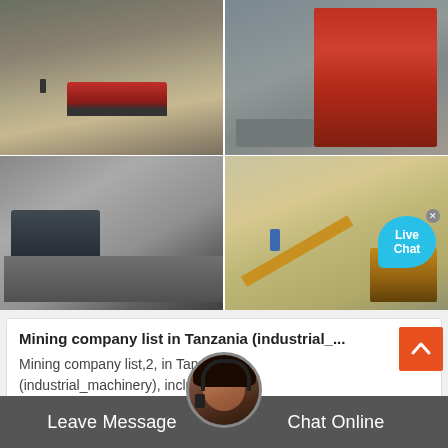[Figure (photo): 2x2 grid of mining/quarry site photos: top-left shows a large gravel pile with a red truck; top-right shows a red industrial crushing machine; bottom-left shows a gray crushing/conveyor machine with aggregate piles; bottom-right shows a yellow conveyor belt and processing equipment in a desert landscape. A 'Live Chat' bubble appears over the bottom-right photo.]
Mining company list in Tanzania (industrial_...
Mining company list,2, in Tanzania (industrial_machinery),include dar es salaam,tanzania,Dar es Salaam,Arusha,Kinon...DAR .
Leave Message    Chat Online